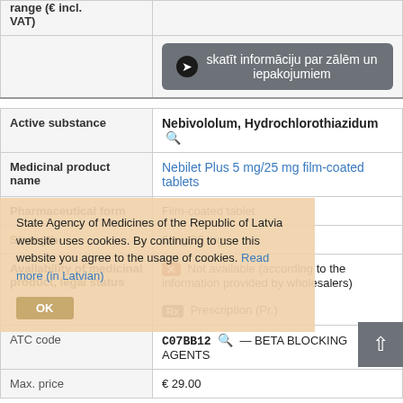|  |  |
| --- | --- |
| range (€ incl. VAT) | skatīt informāciju par zālēm un iepakojumiem |
| Active substance | Nebivololum, Hydrochlorothiazidum |
| Medicinal product name | Nebilet Plus 5 mg/25 mg film-coated tablets |
| Pharmaceutical form | Film-coated tablet |
| Strength | 5 mg/25 mg |
| Availability of medicinal product, legal status | Not available (according to the information provided by wholesalers) | Prescription (Pr.) |
| ATC code | C07BB12 — BETA BLOCKING AGENTS |
| Max. price | € 29.00 |
State Agency of Medicines of the Republic of Latvia website uses cookies. By continuing to use this website you agree to the usage of cookies. Read more (in Latvian)
OK